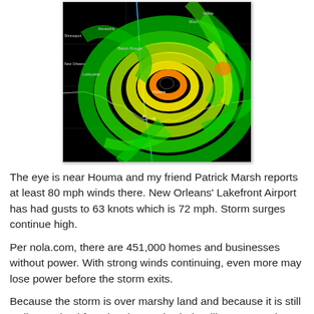[Figure (other): Radar image of a hurricane with bright green, yellow, and orange spiral bands over Louisiana. The eye is near Houma. City labels visible include Baton Rouge, Lafayette, and New Orleans area. Black background with colorful radar returns.]
The eye is near Houma and my friend Patrick Marsh reports at least 80 mph winds there. New Orleans' Lakefront Airport has had gusts to 63 knots which is 72 mph. Storm surges continue high.
Per nola.com, there are 451,000 homes and businesses without power. With strong winds continuing, even more may lose power before the storm exits.
Because the storm is over marshy land and because it is still well-organized for a level 1, peak winds will stay around 75